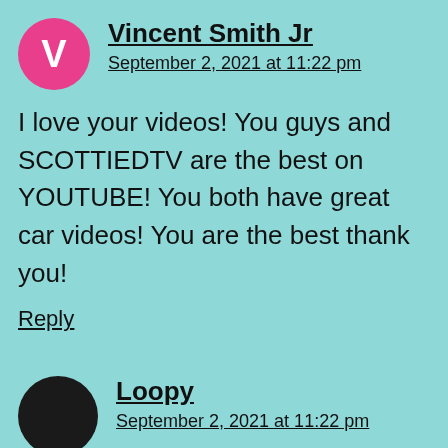Vincent Smith Jr
September 2, 2021 at 11:22 pm
I love your videos! You guys and SCOTTIEDTV are the best on YOUTUBE! You both have great car videos! You are the best thank you!
Reply
Loopy
September 2, 2021 at 11:22 pm